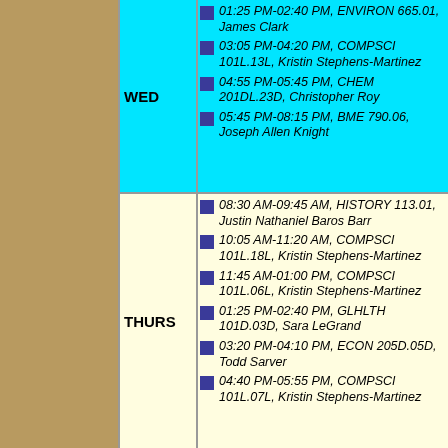| Day | Schedule |
| --- | --- |
| WED | 01:25 PM-02:40 PM, ENVIRON 665.01, James Clark | 03:05 PM-04:20 PM, COMPSCI 101L.13L, Kristin Stephens-Martinez | 04:55 PM-05:45 PM, CHEM 201DL.23D, Christopher Roy | 05:45 PM-08:15 PM, BME 790.06, Joseph Allen Knight |
| THURS | 08:30 AM-09:45 AM, HISTORY 113.01, Justin Nathaniel Baros Barr | 10:05 AM-11:20 AM, COMPSCI 101L.18L, Kristin Stephens-Martinez | 11:45 AM-01:00 PM, COMPSCI 101L.06L, Kristin Stephens-Martinez | 01:25 PM-02:40 PM, GLHLTH 101D.03D, Sara LeGrand | 03:20 PM-04:10 PM, ECON 205D.05D, Todd Sarver | 04:40 PM-05:55 PM, COMPSCI 101L.07L, Kristin Stephens-Martinez |